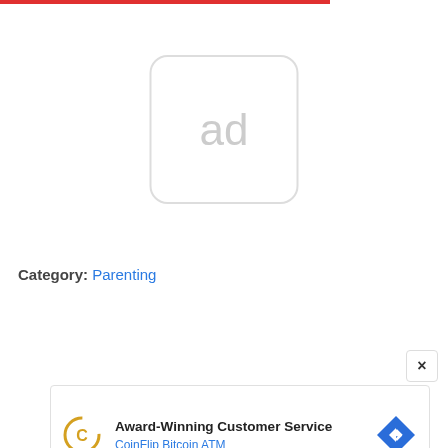[Figure (other): Red horizontal bar at top of page]
[Figure (other): Ad placeholder box with rounded corners showing 'ad' text in light gray]
Category: Parenting
[Figure (other): Close button (x) in top-right corner of ad overlay]
[Figure (other): Ad banner for CoinFlip Bitcoin ATM with Award-Winning Customer Service text, CoinFlip logo, and navigation diamond icon]